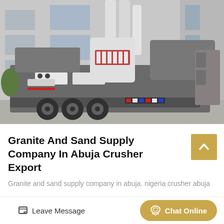[Figure (photo): Mobile crusher/stone crushing machine on a trailer parked in front of an industrial building. The machine is large, grey and white, mounted on a multi-axle trailer with rubber tires. A factory building with large windows and metal silos is visible in the background.]
Granite And Sand Supply Company In Abuja Crusher Export
Granite and sand supply company in abuja. nigeria crusher abuja
Leave Message
Chat Online